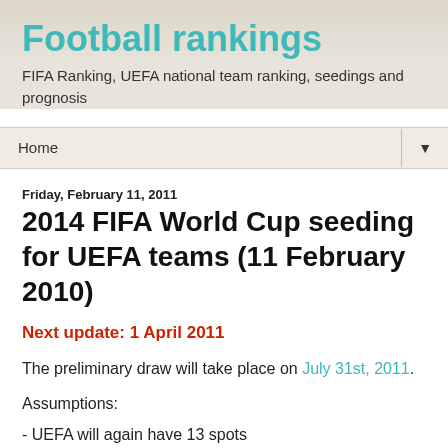Football rankings
FIFA Ranking, UEFA national team ranking, seedings and prognosis
Home
Friday, February 11, 2011
2014 FIFA World Cup seeding for UEFA teams (11 February 2010)
Next update: 1 April 2011
The preliminary draw will take place on July 31st, 2011.
Assumptions:
- UEFA will again have 13 spots
- UEFA will again use the system with 9 groups